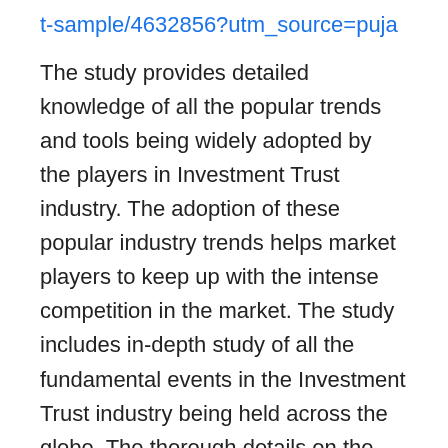t-sample/4632856?utm_source=puja
The study provides detailed knowledge of all the popular trends and tools being widely adopted by the players in Investment Trust industry. The adoption of these popular industry trends helps market players to keep up with the intense competition in the market. The study includes in-depth study of all the fundamental events in the Investment Trust industry being held across the globe. The thorough details on the Investment Trust industry investments are added to the market report. The study provides readers with narrow study over the intense competition in the Investment Trust market. The Investment Trust market study provides readers with the lucrative opportunities for growth in the